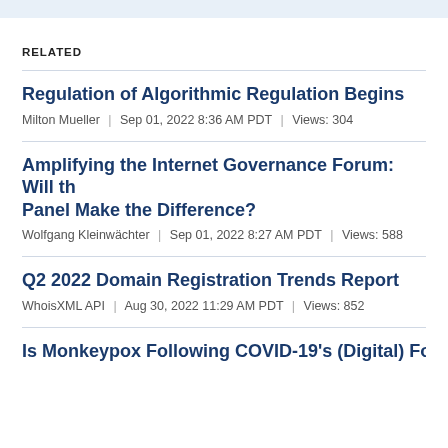RELATED
Regulation of Algorithmic Regulation Begins
Milton Mueller | Sep 01, 2022 8:36 AM PDT | Views: 304
Amplifying the Internet Governance Forum: Will the Panel Make the Difference?
Wolfgang Kleinwächter | Sep 01, 2022 8:27 AM PDT | Views: 588
Q2 2022 Domain Registration Trends Report
WhoisXML API | Aug 30, 2022 11:29 AM PDT | Views: 852
Is Monkeypox Following COVID-19's (Digital) Foots…